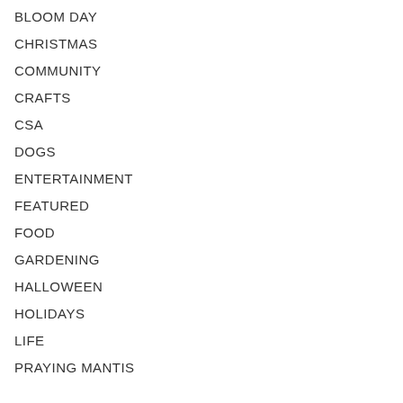BLOOM DAY
CHRISTMAS
COMMUNITY
CRAFTS
CSA
DOGS
ENTERTAINMENT
FEATURED
FOOD
GARDENING
HALLOWEEN
HOLIDAYS
LIFE
PRAYING MANTIS